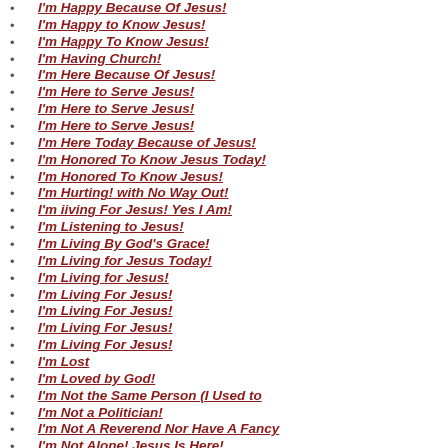I'm Happy Because Of Jesus!
I'm Happy to Know Jesus!
I'm Happy To Know Jesus!
I'm Having Church!
I'm Here Because Of Jesus!
I'm Here to Serve Jesus!
I'm Here to Serve Jesus!
I'm Here to Serve Jesus!
I'm Here Today Because of Jesus!
I'm Honored To Know Jesus Today!
I'm Honored To Know Jesus!
I'm Hurting! with No Way Out!
I'm iiving For Jesus! Yes I Am!
I'm Listening to Jesus!
I'm Living By God's Grace!
I'm Living for Jesus Today!
I'm Living for Jesus!
I'm Living For Jesus!
I'm Living For Jesus!
I'm Living For Jesus!
I'm Living For Jesus!
I'm Lost
I'm Loved by God!
I'm Not the Same Person (I Used to
I'm Not a Politician!
I'm Not A Reverend Nor Have A Fancy
I'm Not Alone! Jesus Is Here!
I'm Not Ashamed of What Jesus Has
I'm Not Here to Please Man, But God
I'm Not Here to Seek the Approval o